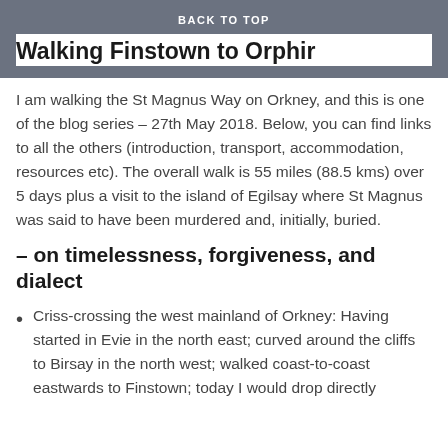BACK TO TOP
Walking Finstown to Orphir
I am walking the St Magnus Way on Orkney, and this is one of the blog series – 27th May 2018. Below, you can find links to all the others (introduction, transport, accommodation, resources etc). The overall walk is 55 miles (88.5 kms) over 5 days plus a visit to the island of Egilsay where St Magnus was said to have been murdered and, initially, buried.
– on timelessness, forgiveness, and dialect
Criss-crossing the west mainland of Orkney: Having started in Evie in the north east; curved around the cliffs to Birsay in the north west; walked coast-to-coast eastwards to Finstown; today I would drop directly